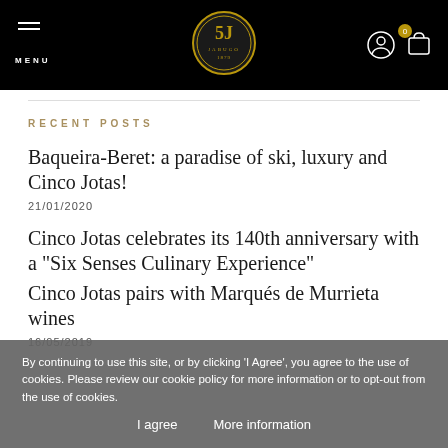MENU | Cinco Jotas logo | user icon | cart (0)
RECENT POSTS
Baqueira-Beret: a paradise of ski, luxury and Cinco Jotas!
21/01/2020
Cinco Jotas celebrates its 140th anniversary with a "Six Senses Culinary Experience"
Cinco Jotas pairs with Marqués de Murrieta wines
16/05/2019
By continuing to use this site, or by clicking 'I Agree', you agree to the use of cookies. Please review our cookie policy for more information or to opt-out from the use of cookies.
I agree   More information